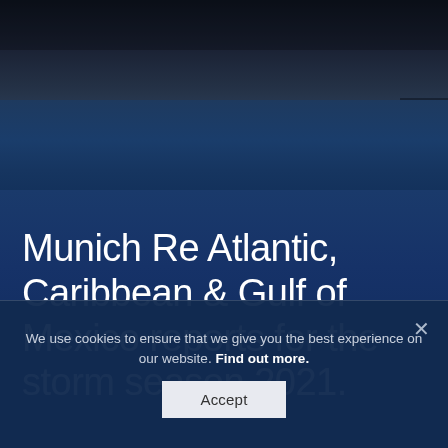[Figure (photo): Ocean/sea horizon photograph with dark sky and blue water, used as background header image]
Munich Re Atlantic, Caribbean & Gulf of Mexico reports for the storm season 2021.
We use cookies to ensure that we give you the best experience on our website. Find out more.
Accept